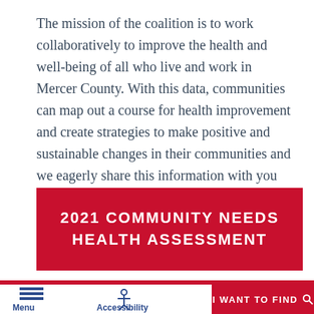The mission of the coalition is to work collaboratively to improve the health and well-being of all who live and work in Mercer County. With this data, communities can map out a course for health improvement and create strategies to make positive and sustainable changes in their communities and we eagerly share this information with you our community.
2021 COMMUNITY NEEDS HEALTH ASSESSMENT
Menu   Accessibility   I WANT TO FIND